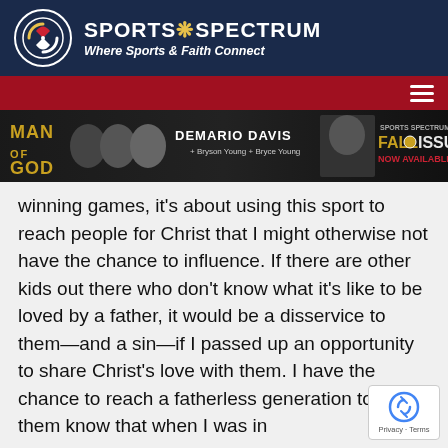SPORTS SPECTRUM — Where Sports & Faith Connect
[Figure (logo): Sports Spectrum logo with circular icon and text 'SPORTS SPECTRUM / Where Sports & Faith Connect' on dark navy background]
[Figure (photo): Sports Spectrum Magazine Fall Issue banner featuring Demario Davis and Man of God promotion]
winning games, it's about using this sport to reach people for Christ that I might otherwise not have the chance to influence. If there are other kids out there who don't know what it's like to be loved by a father, it would be a disservice to them—and a sin—if I passed up an opportunity to share Christ's love with them. I have the chance to reach a fatherless generation to let them know that when I was in